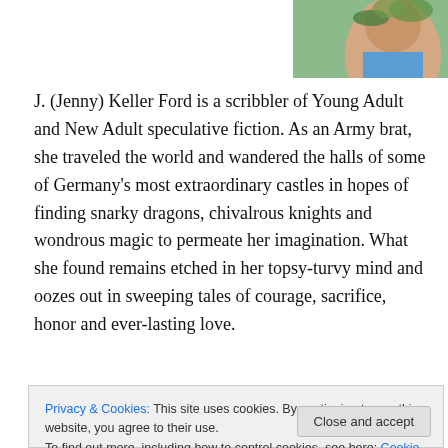[Figure (photo): Author photo of J. Jenny Keller Ford, partially cropped, showing upper body against green foliage background.]
J. (Jenny) Keller Ford is a scribbler of Young Adult and New Adult speculative fiction. As an Army brat, she traveled the world and wandered the halls of some of Germany's most extraordinary castles in hopes of finding snarky dragons, chivalrous knights and wondrous magic to permeate her imagination. What she found remains etched in her topsy-turvy mind and oozes out in sweeping tales of courage, sacrifice, honor and ever-lasting love.
When not torturing her keyboard or trying to silence the
Privacy & Cookies: This site uses cookies. By continuing to use this website, you agree to their use.
To find out more, including how to control cookies, see here: Cookie Policy
of Florida with a menagerie of royal pets, and her own